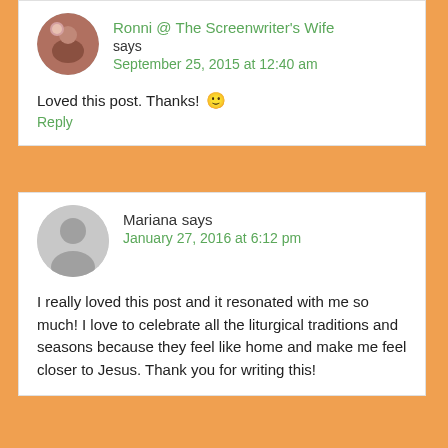Ronni @ The Screenwriter's Wife says
September 25, 2015 at 12:40 am
Loved this post. Thanks! 🙂
Reply
Mariana says
January 27, 2016 at 6:12 pm
I really loved this post and it resonated with me so much! I love to celebrate all the liturgical traditions and seasons because they feel like home and make me feel closer to Jesus. Thank you for writing this!
Reply